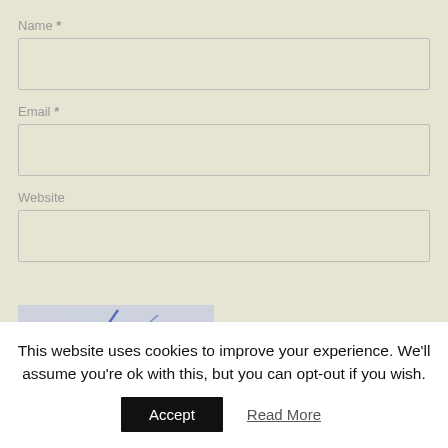Name *
Email *
Website
[Figure (other): CAPTCHA image showing distorted text 'H576' in purple/blue with diagonal strike-through lines, with a refresh icon beside it]
This website uses cookies to improve your experience. We'll assume you're ok with this, but you can opt-out if you wish.
Accept
Read More